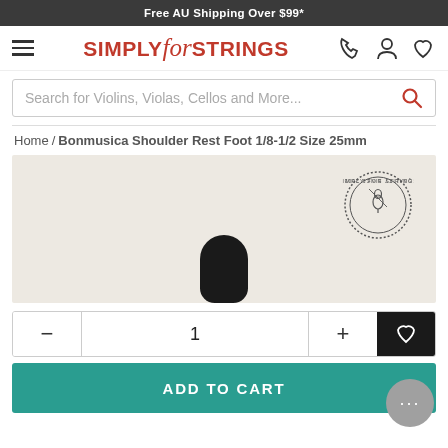Free AU Shipping Over $99*
[Figure (logo): Simply for Strings logo with hamburger menu and navigation icons]
Search for Violins, Violas, Cellos and More...
Home / Bonmusica Shoulder Rest Foot 1/8-1/2 Size 25mm
[Figure (photo): Product image: black shoulder rest foot on a beige/cream background with Simply for Strings circular quality stamp]
- 1 +
ADD TO CART